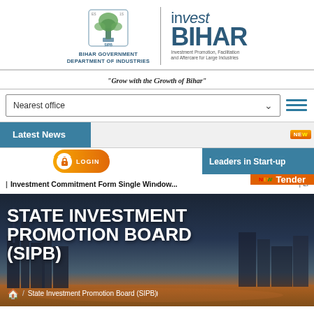[Figure (logo): Bihar Government Department of Industries logo with tree emblem and Invest Bihar branding]
BIHAR GOVERNMENT
DEPARTMENT OF INDUSTRIES
invest BIHAR
Investment Promotion, Facilitation and Aftercare for Large Industries
"Grow with the Growth of Bihar"
Nearest office
Latest News
LOGIN
Leaders in Start-up
| Investment Commitment Form Single Window...
| Li... NEW Tender
STATE INVESTMENT PROMOTION BOARD (SIPB)
🏠 / State Investment Promotion Board (SIPB)